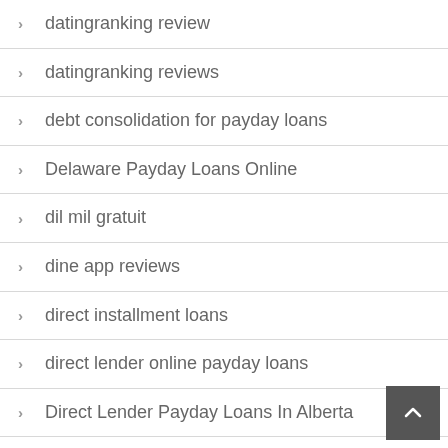datingranking review
datingranking reviews
debt consolidation for payday loans
Delaware Payday Loans Online
dil mil gratuit
dine app reviews
direct installment loans
direct lender online payday loans
Direct Lender Payday Loans In Alberta